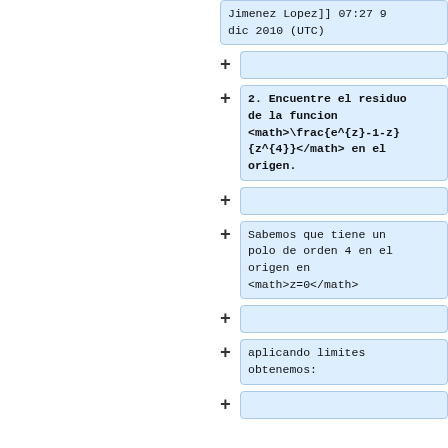Jimenez Lopez]] 07:27 9 dic 2010 (UTC)
2. Encuentre el residuo de la funcion <math>\frac{e^{z}-1-z}{z^{4}}</math> en el origen.
Sabemos que tiene un polo de orden 4 en el origen en <math>z=0</math>
aplicando limites obtenemos: